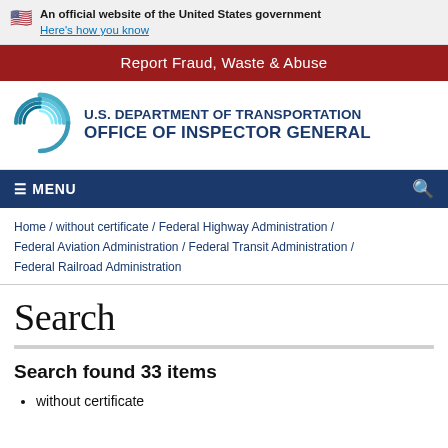An official website of the United States government
Here's how you know
Report Fraud, Waste & Abuse
[Figure (logo): U.S. Department of Transportation Office of Inspector General logo with circular swirl emblem]
≡ MENU
Home / without certificate / Federal Highway Administration / Federal Aviation Administration / Federal Transit Administration / Federal Railroad Administration
Search
Search found 33 items
without certificate